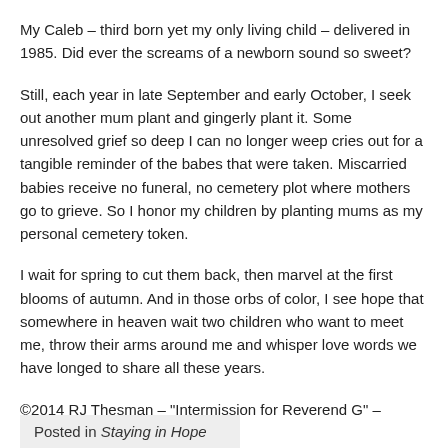My Caleb – third born yet my only living child – delivered in 1985. Did ever the screams of a newborn sound so sweet?
Still, each year in late September and early October, I seek out another mum plant and gingerly plant it. Some unresolved grief so deep I can no longer weep cries out for a tangible reminder of the babes that were taken. Miscarried babies receive no funeral, no cemetery plot where mothers go to grieve. So I honor my children by planting mums as my personal cemetery token.
I wait for spring to cut them back, then marvel at the first blooms of autumn. And in those orbs of color, I see hope that somewhere in heaven wait two children who want to meet me, throw their arms around me and whisper love words we have longed to share all these years.
©2014 RJ Thesman – "Intermission for Reverend G" – http://amzn.to/1l4oGoo
Posted in Staying in Hope